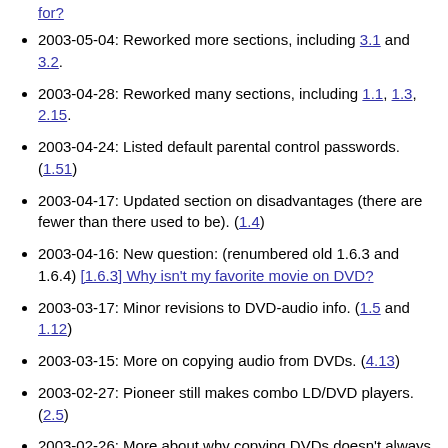for?
2003-05-04: Reworked more sections, including 3.1 and 3.2.
2003-04-28: Reworked many sections, including 1.1, 1.3, 2.15.
2003-04-24: Listed default parental control passwords. (1.51)
2003-04-17: Updated section on disadvantages (there are fewer than there used to be). (1.4)
2003-04-16: New question: (renumbered old 1.6.3 and 1.6.4) [1.6.3] Why isn't my favorite movie on DVD?
2003-03-17: Minor revisions to DVD-audio info. (1.5 and 1.12)
2003-03-15: More on copying audio from DVDs. (4.13)
2003-02-27: Pioneer still makes combo LD/DVD players. (2.5)
2003-02-26: More about why copying DVDs doesn't always work. (5.9)